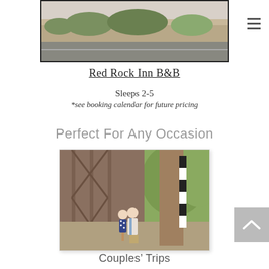[Figure (photo): Exterior photo of Red Rock Inn B&B showing stone landscaping and road, with a hamburger menu icon in upper right corner]
Red Rock Inn B&B
Sleeps 2-5
*see booking calendar for future pricing
Perfect For Any Occasion
[Figure (photo): Couple walking on a historic iron truss bridge with lush green trees in background]
Couples' Trips
[Figure (photo): Partial view of another outdoor photo at bottom of page]